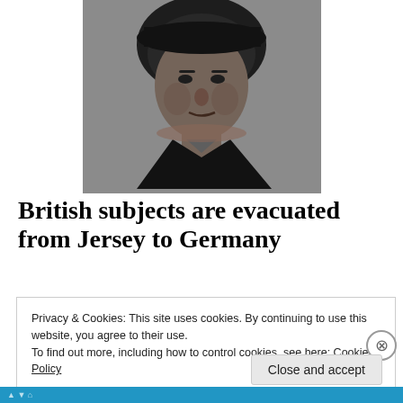[Figure (photo): Black and white portrait photograph of an older woman wearing a hat and dark clothing, looking directly at the camera, grainy/newspaper-style image.]
British subjects are evacuated from Jersey to Germany
Privacy & Cookies: This site uses cookies. By continuing to use this website, you agree to their use.
To find out more, including how to control cookies, see here: Cookie Policy
Close and accept